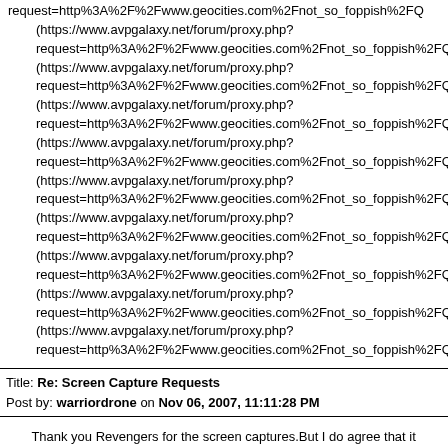request=http%3A%2F%2Fwww.geocities.com%2Fnot_so_foppish%2FQ (https://www.avpgalaxy.net/forum/proxy.php? request=http%3A%2F%2Fwww.geocities.com%2Fnot_so_foppish%2FQ (https://www.avpgalaxy.net/forum/proxy.php? request=http%3A%2F%2Fwww.geocities.com%2Fnot_so_foppish%2FQ (https://www.avpgalaxy.net/forum/proxy.php? request=http%3A%2F%2Fwww.geocities.com%2Fnot_so_foppish%2FQ (https://www.avpgalaxy.net/forum/proxy.php? request=http%3A%2F%2Fwww.geocities.com%2Fnot_so_foppish%2FQ (https://www.avpgalaxy.net/forum/proxy.php? request=http%3A%2F%2Fwww.geocities.com%2Fnot_so_foppish%2FQ (https://www.avpgalaxy.net/forum/proxy.php? request=http%3A%2F%2Fwww.geocities.com%2Fnot_so_foppish%2FQ (https://www.avpgalaxy.net/forum/proxy.php? request=http%3A%2F%2Fwww.geocities.com%2Fnot_so_foppish%2FQ (https://www.avpgalaxy.net/forum/proxy.php? request=http%3A%2F%2Fwww.geocities.com%2Fnot_so_foppish%2FQ (https://www.avpgalaxy.net/forum/proxy.php? request=http%3A%2F%2Fwww.geocities.com%2Fnot_so_foppish%2FQ
Title: Re: Screen Capture Requests
Post by: warriordrone on Nov 06, 2007, 11:11:28 PM
Thank you Revengers for the screen captures.But I do agree that it was an odd concept.
Title: Re: Screen Capture Requests
Post by: Burn the Floor on Nov 07, 2007, 02:42:40 AM